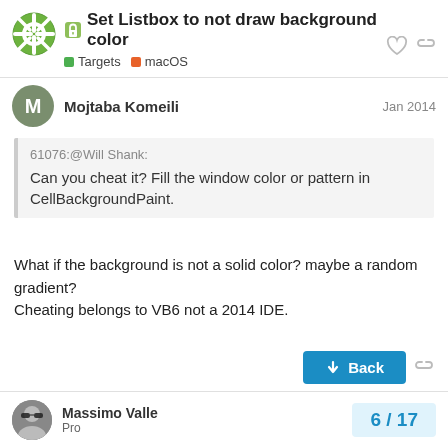Set Listbox to not draw background color — Targets | macOS
Mojtaba Komeili — Jan 2014
61076:@Will Shank:
Can you cheat it? Fill the window color or pattern in CellBackgroundPaint.
What if the background is not a solid color? maybe a random gradient?
Cheating belongs to VB6 not a 2014 IDE.
Back
Massimo Valle — Pro — 6 / 17